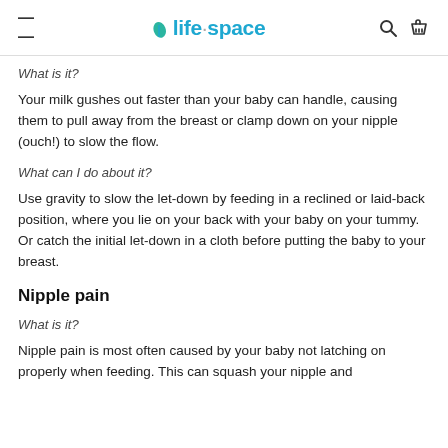life·space
What is it?
Your milk gushes out faster than your baby can handle, causing them to pull away from the breast or clamp down on your nipple (ouch!) to slow the flow.
What can I do about it?
Use gravity to slow the let-down by feeding in a reclined or laid-back position, where you lie on your back with your baby on your tummy. Or catch the initial let-down in a cloth before putting the baby to your breast.
Nipple pain
What is it?
Nipple pain is most often caused by your baby not latching on properly when feeding. This can squash your nipple and